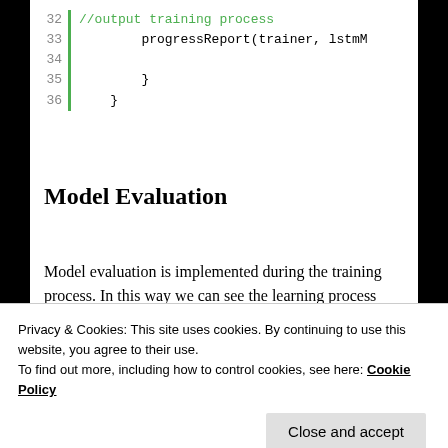[Figure (screenshot): Code editor showing lines 32-36 with green line-number bar. Line 32: //output training process (green comment), Line 33: progressReport(trainer, lstmM, Line 34: (empty), Line 35: }, Line 36: }]
Model Evaluation
Model evaluation is implemented during the training process. In this way we can see the learning process and how the model is getting better and better.
[Figure (screenshot): Advertisement banner: dark navy background with text 'Create surveys, polls, quizzes, and forms.' with WordPress logo and circular badge on the right. 'REPORT THIS AD' text below.]
Privacy & Cookies: This site uses cookies. By continuing to use this website, you agree to their use.
To find out more, including how to control cookies, see here: Cookie Policy
Close and accept
[Figure (screenshot): Code editor bottom showing lines 4-5: Line 4: textBox4.Text = trainer.PreviousM, Line 5: (partial)]